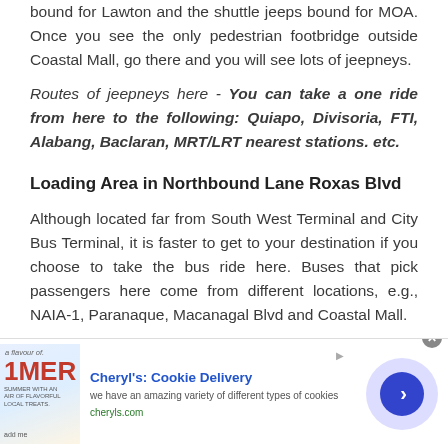bound for Lawton and the shuttle jeeps bound for MOA. Once you see the only pedestrian footbridge outside Coastal Mall, go there and you will see lots of jeepneys.
Routes of jeepneys here - You can take a one ride from here to the following: Quiapo, Divisoria, FTI, Alabang, Baclaran, MRT/LRT nearest stations. etc.
Loading Area in Northbound Lane Roxas Blvd
Although located far from South West Terminal and City Bus Terminal, it is faster to get to your destination if you choose to take the bus ride here. Buses that pick passengers here come from different locations, e.g., NAIA-1, Paranaque, Macanagal Blvd and Coastal Mall.
[Figure (screenshot): Advertisement banner for Cheryl's Cookie Delivery with logo image, title, description text, website URL, and a circular play/arrow button.]